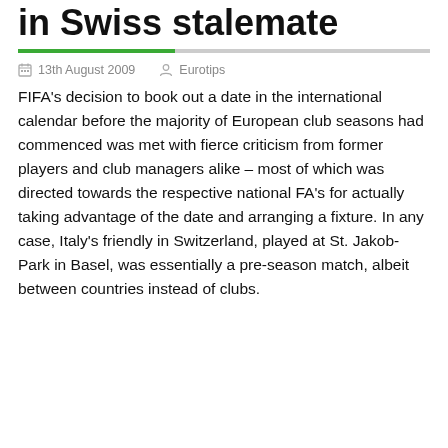in Swiss stalemate
13th August 2009   Eurotips
FIFA's decision to book out a date in the international calendar before the majority of European club seasons had commenced was met with fierce criticism from former players and club managers alike – most of which was directed towards the respective national FA's for actually taking advantage of the date and arranging a fixture. In any case, Italy's friendly in Switzerland, played at St. Jakob-Park in Basel, was essentially a pre-season match, albeit between countries instead of clubs.